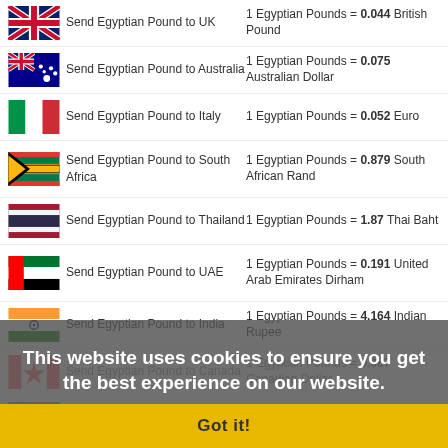Send Egyptian Pound to UK — 1 Egyptian Pounds = 0.044 British Pound
Send Egyptian Pound to Australia — 1 Egyptian Pounds = 0.075 Australian Dollar
Send Egyptian Pound to Italy — 1 Egyptian Pounds = 0.052 Euro
Send Egyptian Pound to South Africa — 1 Egyptian Pounds = 0.879 South African Rand
Send Egyptian Pound to Thailand — 1 Egyptian Pounds = 1.87 Thai Baht
Send Egyptian Pound to UAE — 1 Egyptian Pounds = 0.191 United Arab Emirates Dirham
Send Egyptian Pound to India — 1 Egyptian Pounds = 4.164 Indian Rupee
Send Egyptian Pound to Canada — 1 Egyptian Pounds = 0.067 Canadian Dollar
Send Egyptian Pound to USA — 1 Egyptian Pounds = ... Dollar
Send Egyptian Pound to France — 1 Egyptian Pounds = 0.052 Euro
Send Egyptian Pound to New Zealand — 1 Egyptian Pounds = 0.084 New Zealand Dollar
Send Egyptian Pound to Spain — 1 Egyptian Pounds = 0.052 Euro
Send Egyptian Pound to Turkey — 1 Egyptian Pounds = 0.948 Turkish Lira
Send Egyptian Pound to Germany — 1 Egyptian Pounds = 0.052 Euro
This website uses cookies to ensure you get the best experience on our website. Learn more
Got it!